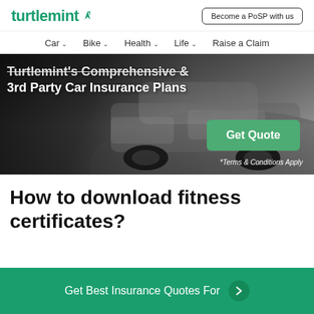turtlemint | Become a PoSP with us
Car | Bike | Health | Life | Raise a Claim
[Figure (photo): Car insurance promotional banner with a dark background showing a car, with text overlay reading Turtlemint's Comprehensive & 3rd Party Car Insurance Plans and a Get Quote button. *Terms & Conditions Apply.]
How to download fitness certificates?
Get Best Insurance Quotes For